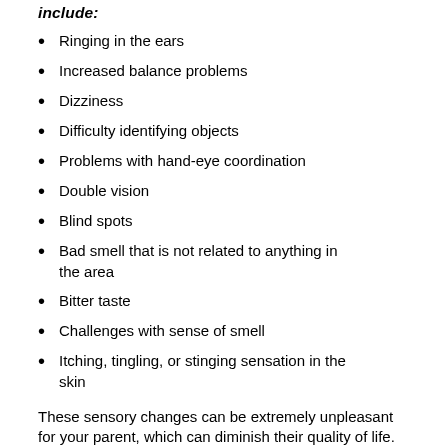include:
Ringing in the ears
Increased balance problems
Dizziness
Difficulty identifying objects
Problems with hand-eye coordination
Double vision
Blind spots
Bad smell that is not related to anything in the area
Bitter taste
Challenges with sense of smell
Itching, tingling, or stinging sensation in the skin
These sensory changes can be extremely unpleasant for your parent, which can diminish their quality of life. Some changes, however,